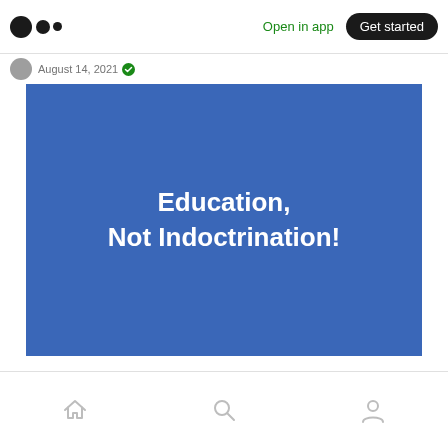Medium app header with logo, Open in app, Get started
August 14, 2021
[Figure (illustration): Blue rectangular banner image with white bold text reading 'Education, Not Indoctrination!']
Bottom navigation bar with home, search, and profile icons